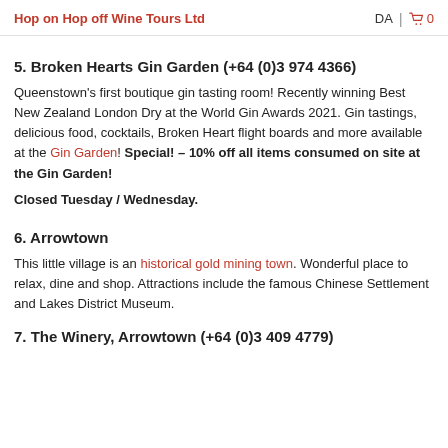Hop on Hop off Wine Tours Ltd
5. Broken Hearts Gin Garden (+64 (0)3 974 4366)
Queenstown's first boutique gin tasting room! Recently winning Best New Zealand London Dry at the World Gin Awards 2021. Gin tastings, delicious food, cocktails, Broken Heart flight boards and more available at the Gin Garden! Special! – 10% off all items consumed on site at the Gin Garden!
Closed Tuesday / Wednesday.
6. Arrowtown
This little village is an historical gold mining town. Wonderful place to relax, dine and shop. Attractions include the famous Chinese Settlement and Lakes District Museum.
7. The Winery, Arrowtown (+64 (0)3 409 4779)